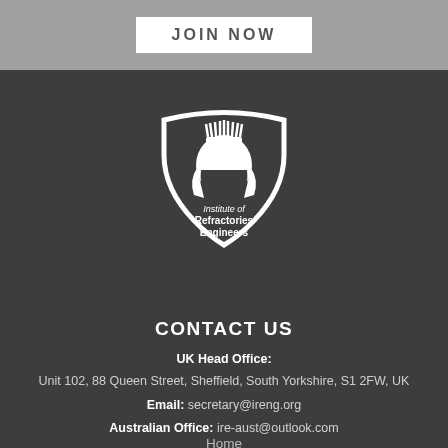JOIN NOW
[Figure (logo): Institute of Refractories Engineers shield logo with Roman helmet, white on dark background]
CONTACT US
UK Head Office: Unit 102, 88 Queen Street, Sheffield, South Yorkshire, S1 2FW, UK
Email: secretary@ireng.org
Australian Office: ire-aust@outlook.com
Home
About Us